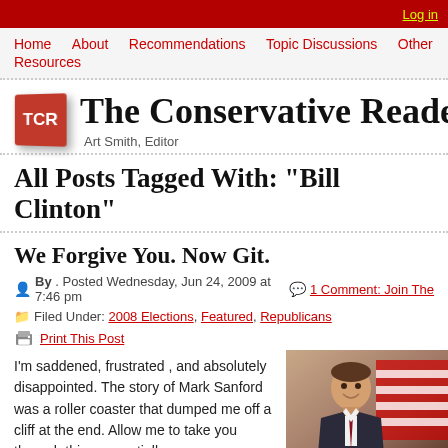Log in
Home   About   Recommendations   Topic Discussions   Other Resources
The Conservative Reader
Art Smith, Editor
All Posts Tagged With: "Bill Clinton"
We Forgive You. Now Git.
By .  Posted Wednesday, Jun 24, 2009 at 7:46 pm
1 Comment: Join The
Filed Under: 2008 Elections, Featured, Republicans
Print This Post
I'm saddened, frustrated , and absolutely disappointed.  The story of Mark Sanford was a roller coaster that dumped me off a cliff at the end.  Allow me to take you through this sequentially.
I've spent the past 36 hours dramatically changing my thoughts about how I might speak to the unusual story of South Carolina Governor Mark Sanford's mysterious disappearance.  Mark was the head of the Republican
[Figure (photo): Photo of a man in a suit and tie smiling, with an American flag in the background]